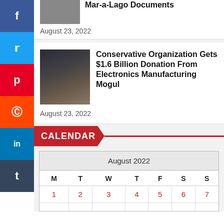Mar-a-Lago Documents
August 23, 2022
Conservative Organization Gets $1.6 Billion Donation From Electronics Manufacturing Mogul
August 23, 2022
CALENDAR
| M | T | W | T | F | S | S |
| --- | --- | --- | --- | --- | --- | --- |
| August 2022 |  |  |  |  |  |  |
| 1 | 2 | 3 | 4 | 5 | 6 | 7 |